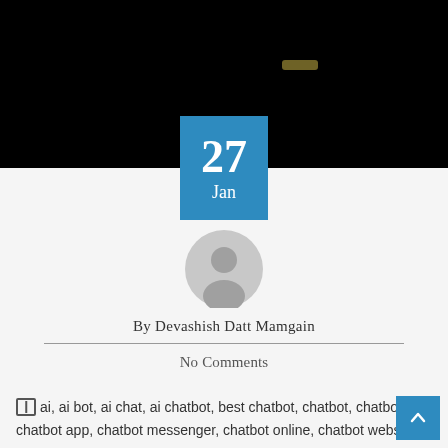[Figure (photo): Dark/black hero image at the top of a blog post page, with a faint golden horizontal glow element visible on the right side]
27
Jan
[Figure (illustration): Generic gray circular user avatar/profile placeholder icon]
By Devashish Datt Mamgain
No Comments
ai, ai bot, ai chat, ai chatbot, best chatbot, chatbot, chatbot ai, chatbot app, chatbot messenger, chatbot online, chatbot website,